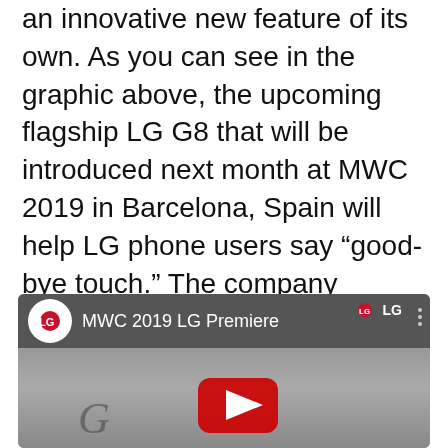an innovative new feature of its own. As you can see in the graphic above, the upcoming flagship LG G8 that will be introduced next month at MWC 2019 in Barcelona, Spain will help LG phone users say “good-bye touch.” The company appears to be hinting a new touchless navigation gestures, and multiple independent reports have suggested as much. If that’s not enough to convince you, take a look at LG’s earlier G8 teaser video below.
[Figure (screenshot): Embedded YouTube video thumbnail showing MWC 2019 LG Premiere with LG logo circle on left and video title text, LG branding top right, and partial YouTube play button visible at bottom]